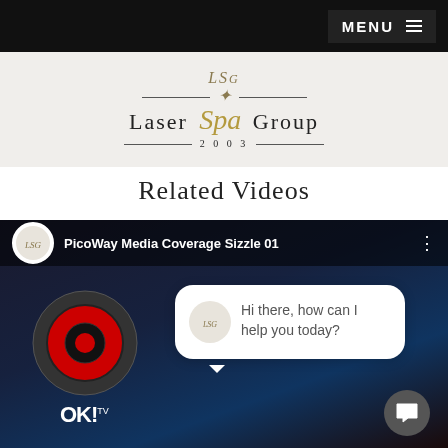MENU
[Figure (logo): Laser Spa Group logo with decorative lines and year 2003]
Related Videos
[Figure (screenshot): Video thumbnail for 'PicoWay Media Coverage Sizzle 01' with chat bubble overlay saying 'Hi there, how can I help you today?']